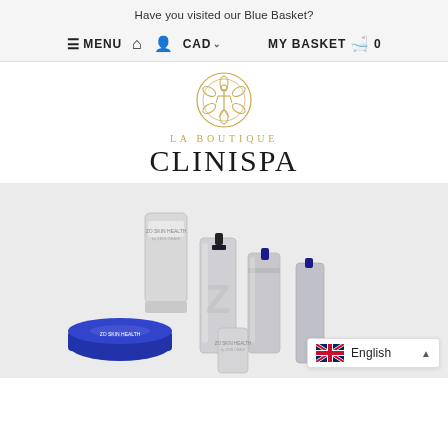Have you visited our Blue Basket?
≡ MENU  🏠  👤  CAD ∨  MY BASKET  🛍  0
[Figure (logo): La Boutique Clinispa logo with decorative emblem and gold/dark text]
[Figure (photo): ZO Skin Health by Zein Obagi skincare products on light grey background — tubes, bottles, and a jar with silver and blue packaging]
English